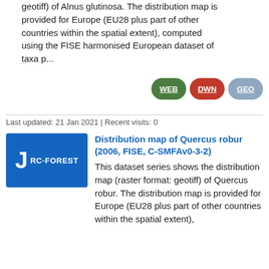geotiff) of Alnus glutinosa. The distribution map is provided for Europe (EU28 plus part of other countries within the spatial extent), computed using the FISE harmonised European dataset of taxa p...
[Figure (other): Three pill-shaped buttons: WEB (green), DWN (red), GEO (grey-blue)]
Last updated: 21 Jan 2021 | Recent visits: 0
[Figure (other): Blue tile icon with letter J and label RC-FOREST]
Distribution map of Quercus robur (2006, FISE, C-SMFAv0-3-2)
This dataset series shows the distribution map (raster format: geotiff) of Quercus robur. The distribution map is provided for Europe (EU28 plus part of other countries within the spatial extent),